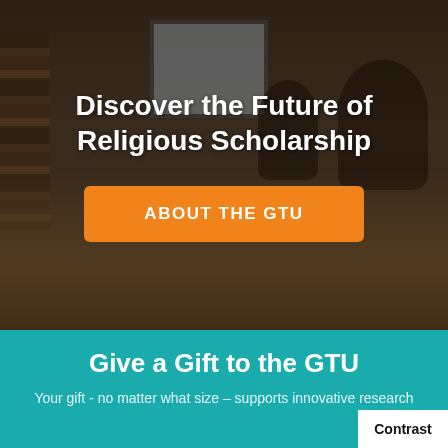[Figure (photo): A dimly lit library or study room with wooden chairs and tables in the foreground, students studying in the background, and a bookshelf visible on the left. A window or screen is visible in the upper center.]
Discover the Future of Religious Scholarship
ABOUT THE GTU
Give a Gift to the GTU
Your gift - no matter what size – supports innovative research